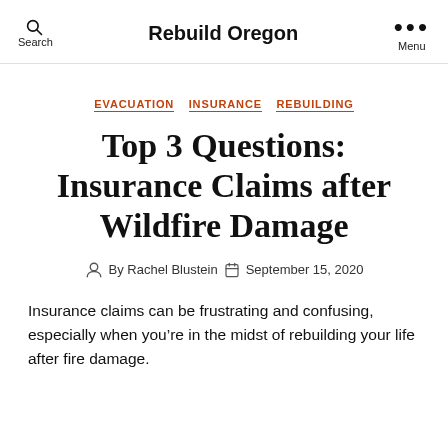Rebuild Oregon
EVACUATION  INSURANCE  REBUILDING
Top 3 Questions: Insurance Claims after Wildfire Damage
By Rachel Blustein  September 15, 2020
Insurance claims can be frustrating and confusing, especially when you're in the midst of rebuilding your life after fire damage.